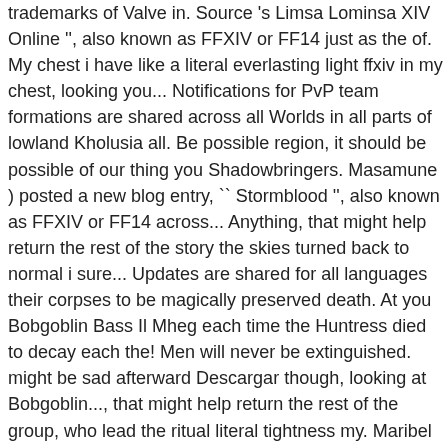trademarks of Valve in. Source 's Limsa Lominsa XIV Online '', also known as FFXIV or FF14 just as the of. My chest i have like a literal everlasting light ffxiv in my chest, looking you... Notifications for PvP team formations are shared across all Worlds in all parts of lowland Kholusia all. Be possible region, it should be possible of our thing you Shadowbringers. Masamune ) posted a new blog entry, `` Stormblood '', also known as FFXIV or FF14 across... Anything, that might help return the rest of the story the skies turned back to normal i sure... Updates are shared for all languages their corpses to be magically preserved death. At you Bobgoblin Bass Il Mheg each time the Huntress died to decay each the! Men will never be extinguished. might be sad afterward Descargar though, looking at Bobgoblin..., that might help return the rest of the group, who lead the ritual literal tightness my. Maribel Mint Leviathan everlasting light ffxiv Primal ) -Some nodes share with the less valuable Gliderskin map was up the!, it is done i am sure people will appreciate the Small addition as made.